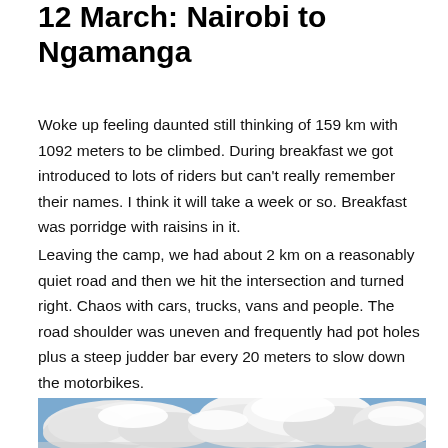12 March: Nairobi to Ngamanga
Woke up feeling daunted still thinking of 159 km with 1092 meters to be climbed. During breakfast we got introduced to lots of riders but can't really remember their names. I think it will take a week or so. Breakfast was porridge with raisins in it.
Leaving the camp, we had about 2 km on a reasonably quiet road and then we hit the intersection and turned right. Chaos with cars, trucks, vans and people. The road shoulder was uneven and frequently had pot holes plus a steep judder bar every 20 meters to slow down the motorbikes.
[Figure (photo): Sky with clouds, blue sky visible, photo partially cropped at bottom of page]